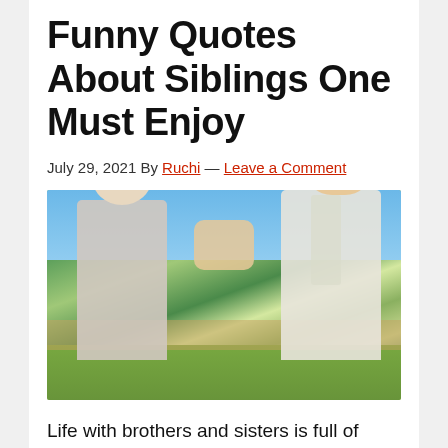Funny Quotes About Siblings One Must Enjoy
July 29, 2021 By Ruchi — Leave a Comment
[Figure (photo): Two young siblings giving each other a high five outdoors in a backyard setting with trees and fence in background.]
Life with brothers and sisters is full of annoying, exciting, and sentimental